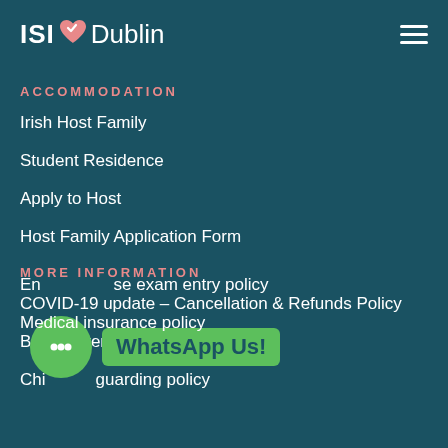ISI Dublin
ACCOMMODATION
Irish Host Family
Student Residence
Apply to Host
Host Family Application Form
MORE INFORMATION
COVID-19 update – Cancellation & Refunds Policy
Booking terms & conditions
Child safeguarding policy
English course exam entry policy
Medical insurance policy
WhatsApp Us!